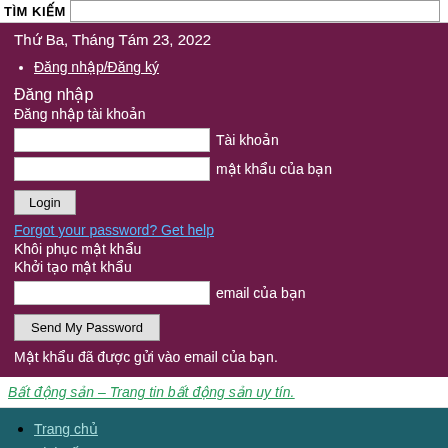TÌM KIẾM
Thứ Ba, Tháng Tám 23, 2022
Đăng nhập/Đăng ký
Đăng nhập
Đăng nhập tài khoản
Tài khoản
mật khẩu của bạn
Login
Forgot your password? Get help
Khôi phục mật khẩu
Khởi tạo mật khẩu
email của bạn
Send My Password
Mật khẩu đã được gửi vào email của bạn.
Bất động sản – Trang tin bất động sản uy tín.
Trang chủ
Kinh tế
Nhà đất
Nội...